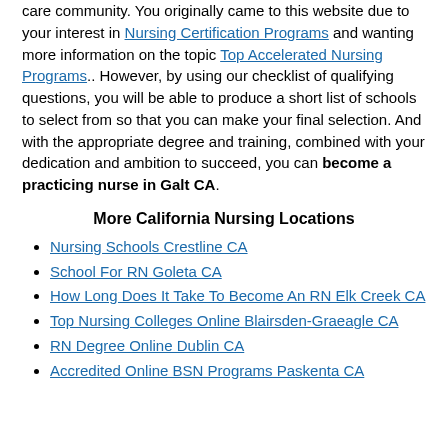care community. You originally came to this website due to your interest in Nursing Certification Programs and wanting more information on the topic Top Accelerated Nursing Programs.. However, by using our checklist of qualifying questions, you will be able to produce a short list of schools to select from so that you can make your final selection. And with the appropriate degree and training, combined with your dedication and ambition to succeed, you can become a practicing nurse in Galt CA.
More California Nursing Locations
Nursing Schools Crestline CA
School For RN Goleta CA
How Long Does It Take To Become An RN Elk Creek CA
Top Nursing Colleges Online Blairsden-Graeagle CA
RN Degree Online Dublin CA
Accredited Online BSN Programs Paskenta CA